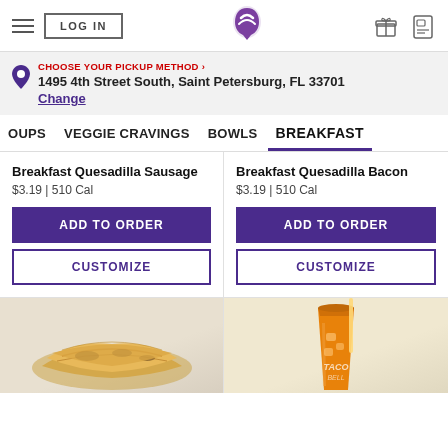LOG IN | Taco Bell | (gift icon) (card icon)
CHOOSE YOUR PICKUP METHOD > 1495 4th Street South, Saint Petersburg, FL 33701 Change
OUPS   VEGGIE CRAVINGS   BOWLS   BREAKFAST
Breakfast Quesadilla Sausage
$3.19 | 510 Cal
ADD TO ORDER
CUSTOMIZE
Breakfast Quesadilla Bacon
$3.19 | 510 Cal
ADD TO ORDER
CUSTOMIZE
[Figure (photo): Photo of Taco Bell Breakfast Quesadilla Sausage]
[Figure (photo): Photo of Taco Bell orange drink in a cup]